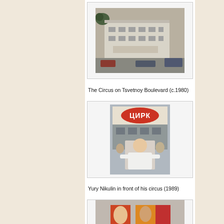[Figure (photo): Black and white street photograph of the Circus on Tsvetnoy Boulevard building, circa 1980. A large multi-story building with classical facade is visible, with cars and pedestrians on the street in front.]
The Circus on Tsvetnoy Boulevard (c.1980)
[Figure (photo): Photograph of Yury Nikulin standing in front of his circus in 1989. The circus sign is visible at the top, and Nikulin is shown in the foreground surrounded by people.]
Yury Nikulin in front of his circus (1989)
[Figure (photo): Partially visible photograph at the bottom of the page, showing colorful circus-related imagery.]